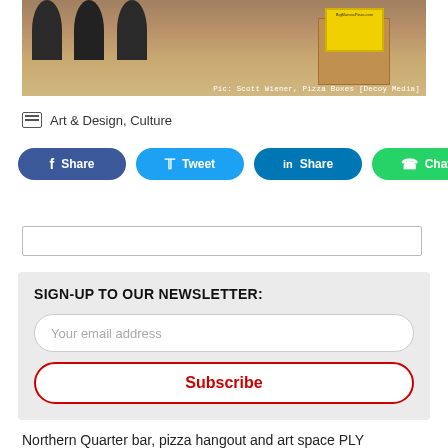[Figure (photo): Interior of a pizza restaurant showing bar stools, a wooden cabinet, and a Big Mama's Pizza sign on the wall. Caption reads: Pic: Scott Wiener, Pizza Boxes [Decoy Media]]
Art & Design, Culture
Share | Tweet | Share | Chat (social share buttons: Facebook, Twitter, LinkedIn, WhatsApp)
SIGN-UP TO OUR NEWSLETTER:
Your email address
Subscribe
Northern Quarter bar, pizza hangout and art space PLY